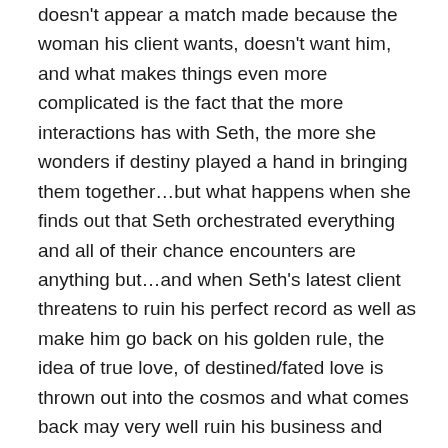doesn't appear a match made because the woman his client wants, doesn't want him, and what makes things even more complicated is the fact that the more interactions has with Seth, the more she wonders if destiny played a hand in bringing them together…but what happens when she finds out that Seth orchestrated everything and all of their chance encounters are anything but…and when Seth's latest client threatens to ruin his perfect record as well as make him go back on his golden rule, the idea of true love, of destined/fated love is thrown out into the cosmos and what comes back may very well ruin his business and break several hearts in the process.
.
The manufacturing and manipulating that is involved with Seth's business is most definitely going against the belief of fate bringing two people together…or is it? The fact that